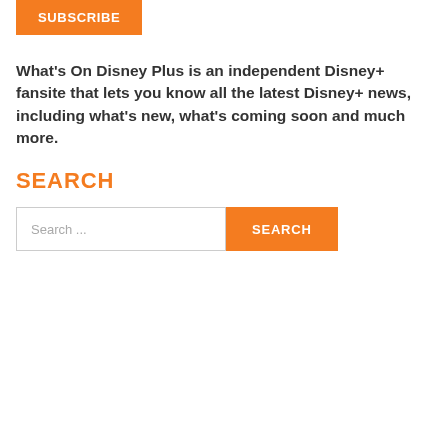SUBSCRIBE
What's On Disney Plus is an independent Disney+ fansite that lets you know all the latest Disney+ news, including what's new, what's coming soon and much more.
SEARCH
Search ...